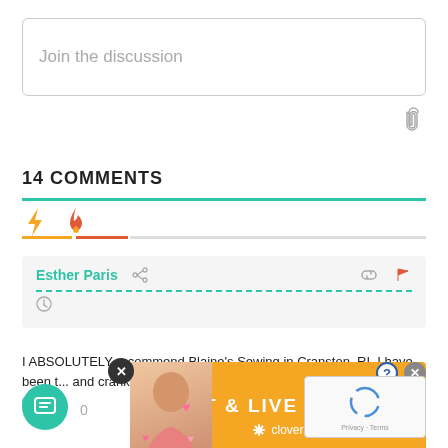Join the discussion
14 COMMENTS
[Figure (screenshot): Comment section UI with icons: lightning bolt (orange) and fire (red-orange) tabs, green separator line]
Esther Paris
I ABSOLUTELY recommend Blaine's Sewing in Cranston, RI. I have been t... and crank m...
[Figure (screenshot): Advertisement overlay: CHAT & LIVE STREAM by clover, orange background with woman photo, close buttons]
0